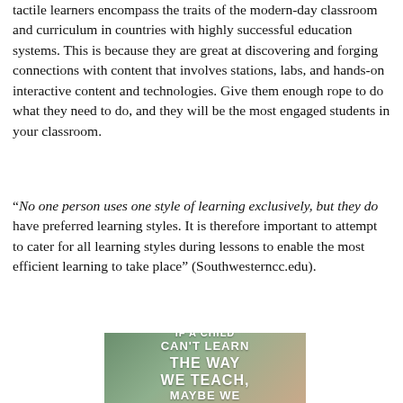tactile learners encompass the traits of the modern-day classroom and curriculum in countries with highly successful education systems. This is because they are great at discovering and forging connections with content that involves stations, labs, and hands-on interactive content and technologies. Give them enough rope to do what they need to do, and they will be the most engaged students in your classroom.
“No one person uses one style of learning exclusively, but they do have preferred learning styles. It is therefore important to attempt to cater for all learning styles during lessons to enable the most efficient learning to take place” (Southwesterncc.edu).
[Figure (illustration): Motivational poster with text on a blurred nature/child background: 'IF A CHILD CAN'T LEARN THE WAY WE TEACH, MAYBE WE SHOULD TEACH' with decorative squiggle lines]